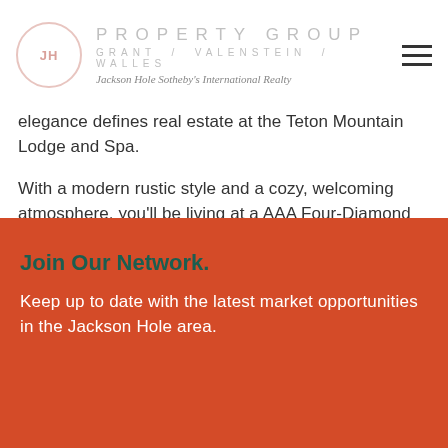PROPERTY GROUP | GRANT / VALENSTEIN / WALLES | Jackson Hole Sotheby's International Realty
elegance defines real estate at the Teton Mountain Lodge and Spa.
With a modern rustic style and a cozy, welcoming atmosphere, you'll be living at a AAA Four-Diamond lodge at the base of the No. 1-rated Jackson Hole Mountain Resort. You'll even have a private owner's locker to store your gear in.
Read More +
Join Our Network.
Keep up to date with the latest market opportunities in the Jackson Hole area.